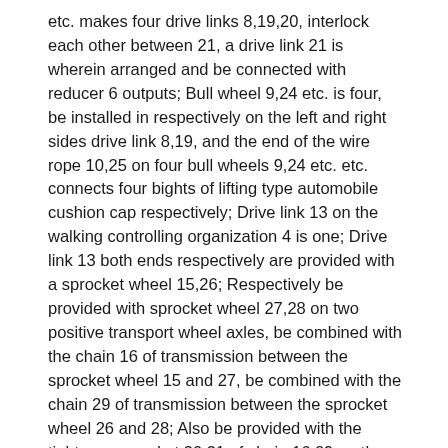etc. makes four drive links 8,19,20, interlock each other between 21, a drive link 21 is wherein arranged and be connected with reducer 6 outputs; Bull wheel 9,24 etc. is four, be installed in respectively on the left and right sides drive link 8,19, and the end of the wire rope 10,25 on four bull wheels 9,24 etc. etc. connects four bights of lifting type automobile cushion cap respectively; Drive link 13 on the walking controlling organization 4 is one; Drive link 13 both ends respectively are provided with a sprocket wheel 15,26; Respectively be provided with sprocket wheel 27,28 on two positive transport wheel axles, be combined with the chain 16 of transmission between the sprocket wheel 15 and 27, be combined with the chain 29 of transmission between the sprocket wheel 26 and 28; Also be provided with the tightener sprocket 30,31 of chain 16,29 on the stepped type frame 1.
In the use, when parking space, a ground did not park a car, walking controlling organization 4 control road wheels 5,17 etc. were through ground rail, control stepped type frame 1 this parking space, ground of walking; Cushion cap lifting control mechanism 3 control lifting type automobile cushion caps 2 drop to ground then, let the